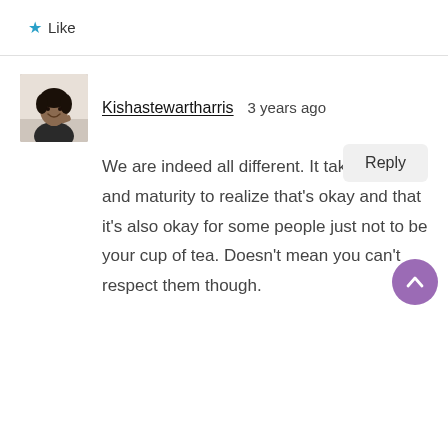★ Like
[Figure (photo): Avatar photo of a smiling Black woman]
Kishastewartharris   3 years ago
Reply
We are indeed all different. It takes growth and maturity to realize that's okay and that it's also okay for some people just not to be your cup of tea. Doesn't mean you can't respect them though.